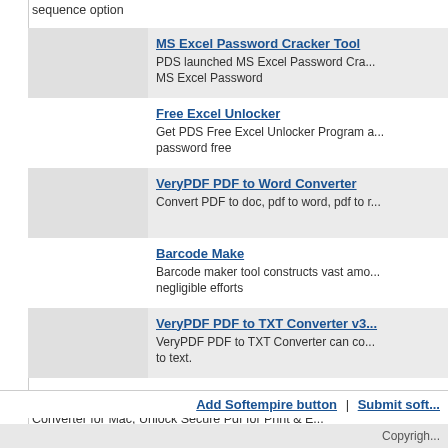sequence option
MS Excel Password Cracker Tool — PDS launched MS Excel Password Cra... MS Excel Password
Free Excel Unlocker — Get PDS Free Excel Unlocker Program a... password free
VeryPDF PDF to Word Converter — Convert PDF to doc, pdf to word, pdf to r...
Barcode Make — Barcode maker tool constructs vast amo... negligible efforts
VeryPDF PDF to TXT Converter v3... — VeryPDF PDF to TXT Converter can co... to text.
You can download: Lock Adobe Pdf Files, Word PD... Converter for Mac, Unlock Secure Pdf for Print & E... Converter gui cmd, JPG to Word OCR Converter, I... VeryPDF PDF to Word Converter, Barcode Make, V...
Add Softempire button | Submit soft...
Copyrigh...